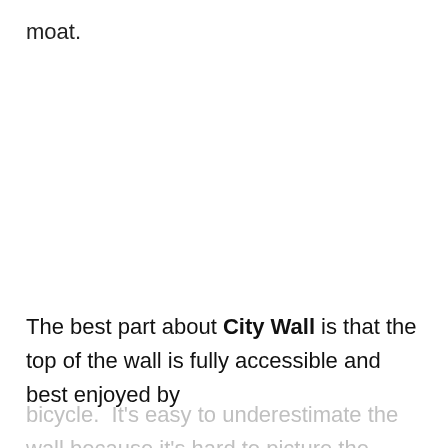moat.
The best part about City Wall is that the top of the wall is fully accessible and best enjoyed by
bicycle. It's easy to underestimate the wall because it's hard to picture the scale but once